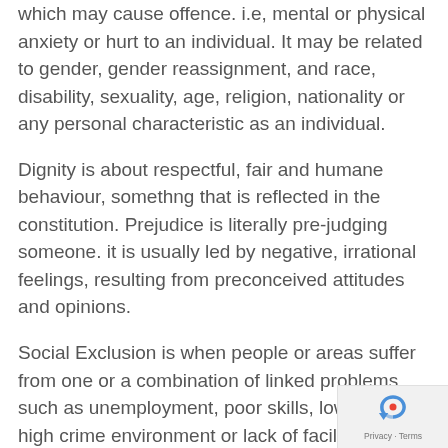which may cause offence. i.e, mental or physical anxiety or hurt to an individual. It may be related to gender, gender reassignment, and race, disability, sexuality, age, religion, nationality or any personal characteristic as an individual.
Dignity is about respectful, fair and humane behaviour, somethng that is reflected in the constitution. Prejudice is literally pre-judging someone. it is usually led by negative, irrational feelings, resulting from preconceived attitudes and opinions.
Social Exclusion is when people or areas suffer from one or a combination of linked problems such as unemployment, poor skills, low income, high crime environment or lack of facilities